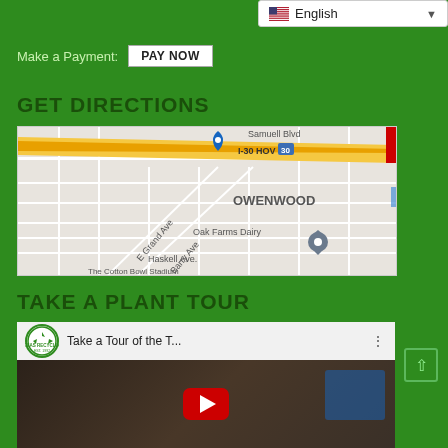[Figure (screenshot): Language selector dropdown showing English with flag icon and dropdown arrow]
Make a Payment: PAY NOW
GET DIRECTIONS
[Figure (map): Google Maps screenshot showing area near I-30 HOV, E Grand Ave, Barry Ave, Haskell Ave, Samuell Blvd, OWENWOOD neighborhood, Oak Farms Dairy, and The Cotton Bowl Stadium]
TAKE A PLANT TOUR
[Figure (screenshot): YouTube video embed with Texas Recycling logo showing 'Take a Tour of the T...' with red play button]